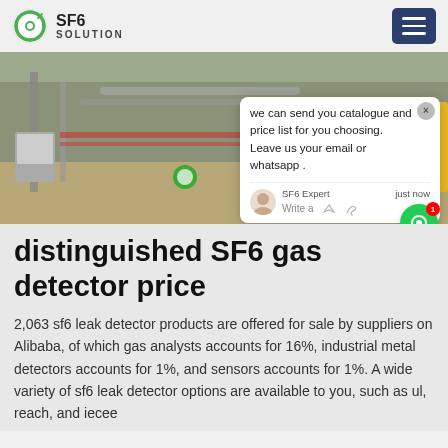SF6 SOLUTION
[Figure (photo): Outdoor industrial site with yellow truck and green SF6 gas equipment, pipes visible in background, with a chat popup overlay showing 'we can send you catalogue and price list for you choosing. Leave us your email or whatsapp .']
distinguished SF6 gas detector price
2,063 sf6 leak detector products are offered for sale by suppliers on Alibaba, of which gas analysts accounts for 16%, industrial metal detectors accounts for 1%, and sensors accounts for 1%. A wide variety of sf6 leak detector options are available to you, such as ul, reach, and iecee